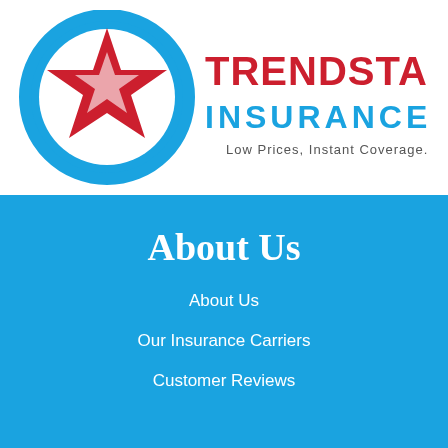[Figure (logo): Trendstar Insurance logo with a blue circle containing a red star, and bold red text 'TRENDSTAR' and blue text 'INSURANCE' with tagline 'Low Prices, Instant Coverage.']
About Us
About Us
Our Insurance Carriers
Customer Reviews